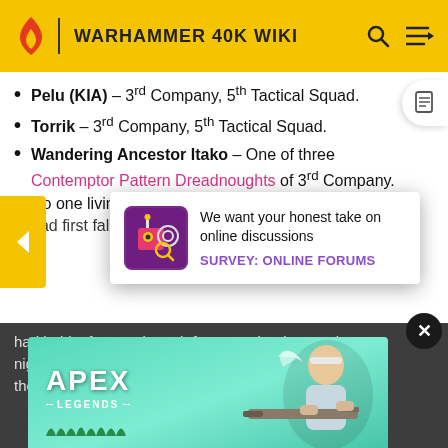WARHAMMER 40K WIKI
Pelu (KIA) – 3rd Company, 5th Tactical Squad.
Torrik – 3rd Company, 5th Tactical Squad.
Wandering Ancestor Itako – One of three Contemptor Pattern Dreadnoughts of 3rd Company. No one living knew just how Wandering Ancestor Itako had first fallen. The Chaplains of the Carcharodons...
[Figure (infographic): Survey popup overlay with robot icon reading 'We want your honest take on online discussions' and 'SURVEY: ONLINE FORUMS' link]
had held a fortress breach for two solar days and a nig... filling the... such... had been the champion of the 3rd Company who had fought a
[Figure (infographic): Apex Legends advertisement banner with teal/green background and game character holding a sniper rifle]